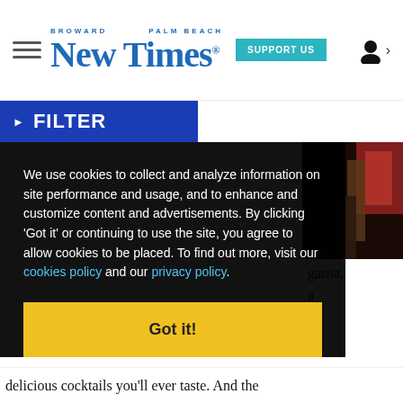Broward Palm Beach New Times — SUPPORT US
FILTER
[Figure (photo): Partial photo of bar/restaurant interior visible in top-right corner]
We use cookies to collect and analyze information on site performance and usage, and to enhance and customize content and advertisements. By clicking 'Got it' or continuing to use the site, you agree to allow cookies to be placed. To find out more, visit our cookies policy and our privacy policy.
Got it!
...garita. a e d, to a ons vely
delicious cocktails you'll ever taste. And the